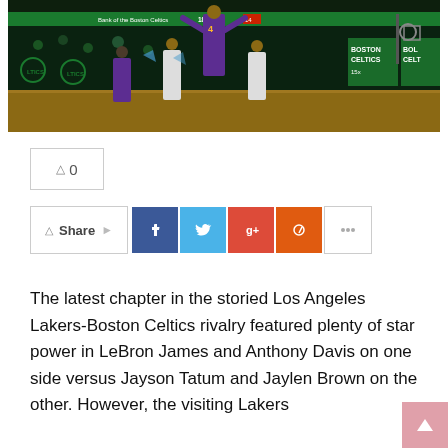[Figure (photo): Basketball game photo showing Lakers player #4 in purple uniform jumping/dunking over Boston Celtics players in white uniforms at TD Garden arena, with Boston Celtics banners visible on the right side, game clock showing 18:27]
0
Share
The latest chapter in the storied Los Angeles Lakers-Boston Celtics rivalry featured plenty of star power in LeBron James and Anthony Davis on one side versus Jayson Tatum and Jaylen Brown on the other. However, the visiting Lakers